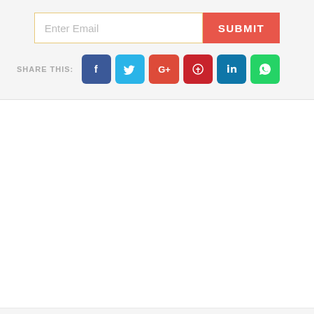[Figure (screenshot): Email subscription input field with placeholder text 'Enter Email' and a red 'SUBMIT' button]
SHARE THIS:
[Figure (infographic): Social media share buttons: Facebook (blue), Twitter (light blue), Google+ (red), Pinterest (dark red), LinkedIn (blue), WhatsApp (green)]